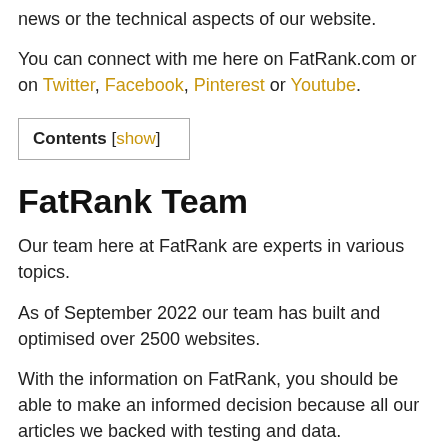news or the technical aspects of our website.
You can connect with me here on FatRank.com or on Twitter, Facebook, Pinterest or Youtube.
Contents [show]
FatRank Team
Our team here at FatRank are experts in various topics.
As of September 2022 our team has built and optimised over 2500 websites.
With the information on FatRank, you should be able to make an informed decision because all our articles we backed with testing and data.